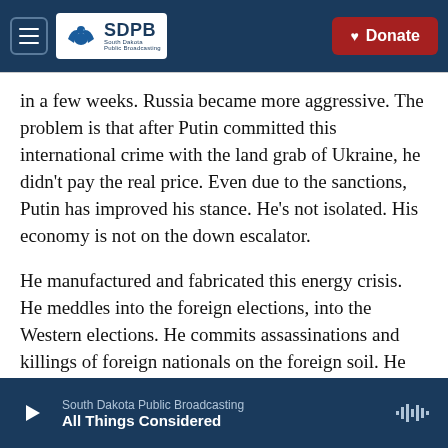SDPB South Dakota Public Broadcasting | Donate
in a few weeks. Russia became more aggressive. The problem is that after Putin committed this international crime with the land grab of Ukraine, he didn't pay the real price. Even due to the sanctions, Putin has improved his stance. He's not isolated. His economy is not on the down escalator.
He manufactured and fabricated this energy crisis. He meddles into the foreign elections, into the Western elections. He commits assassinations and killings of foreign nationals on the foreign soil. He makes cyberattacks. So the beast is very, very dangerous.
South Dakota Public Broadcasting | All Things Considered